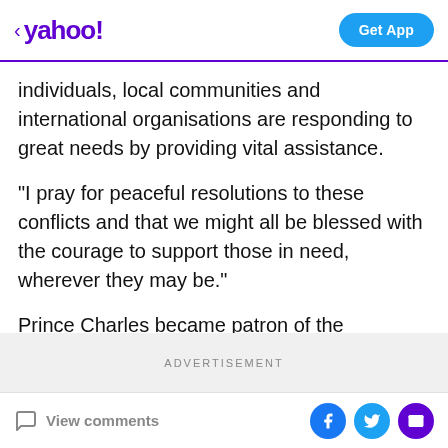yahoo! Get App
individuals, local communities and international organisations are responding to great needs by providing vital assistance.
"I pray for peaceful resolutions to these conflicts and that we might all be blessed with the courage to support those in need, wherever they may be."
Prince Charles became patron of the International Rescue Committee in January 2020. He is also president of the British Red Cross.
View comments